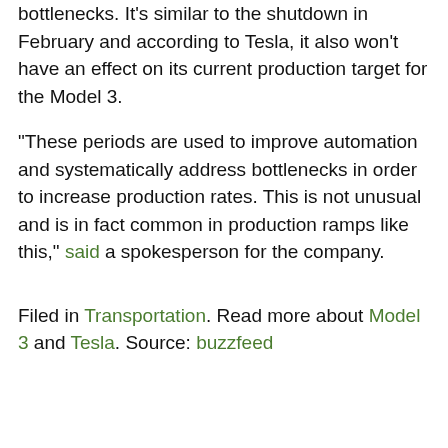bottlenecks. It's similar to the shutdown in February and according to Tesla, it also won't have an effect on its current production target for the Model 3.
“These periods are used to improve automation and systematically address bottlenecks in order to increase production rates. This is not unusual and is in fact common in production ramps like this,” said a spokesperson for the company.
Filed in Transportation. Read more about Model 3 and Tesla. Source: buzzfeed